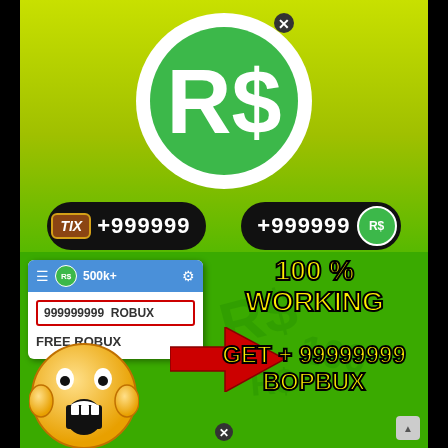[Figure (logo): Roblox R$ logo — white circle with green R$ symbol on yellow-green gradient background]
[Figure (infographic): TIX +999999 and +999999 R$ badge row on dark pill-shaped backgrounds]
[Figure (screenshot): Roblox UI panel mockup showing 500k+ balance, 999999999 ROBUX display box, FREE ROBUX text, with red arrow pointing at it]
100 % WORKING
GET + 99999999 BOPBUX
[Figure (illustration): Screaming/shocked face emoji]